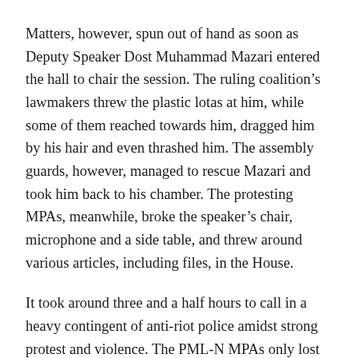Matters, however, spun out of hand as soon as Deputy Speaker Dost Muhammad Mazari entered the hall to chair the session. The ruling coalition's lawmakers threw the plastic lotas at him, while some of them reached towards him, dragged him by his hair and even thrashed him. The assembly guards, however, managed to rescue Mazari and took him back to his chamber. The protesting MPAs, meanwhile, broke the speaker's chair, microphone and a side table, and threw around various articles, including files, in the House.
It took around three and a half hours to call in a heavy contingent of anti-riot police amidst strong protest and violence. The PML-N MPAs only lost patience when several private guards of Mr Elahi (wearing assembly force's uniform) as well as plainclothesmen entered the hall from the rear entrance. The opposition MPAs thrashed the guards and threw them out of the House. This further mayhem that spanned over five minutes also left Mr Elahi, one of